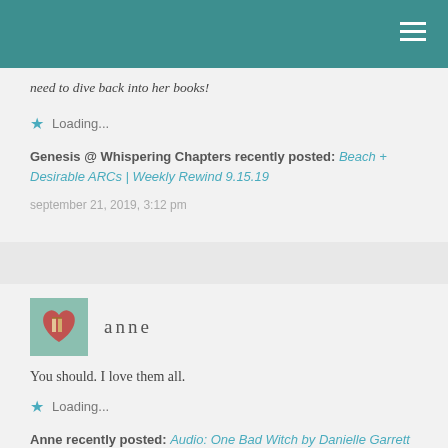need to dive back into her books!
Loading...
Genesis @ Whispering Chapters recently posted: Beach + Desirable ARCs | Weekly Rewind 9.15.19
september 21, 2019, 3:12 pm
anne
You should. I love them all.
Loading...
Anne recently posted: Audio: One Bad Witch by Danielle Garrett
september 21, 2019, 9:13 pm